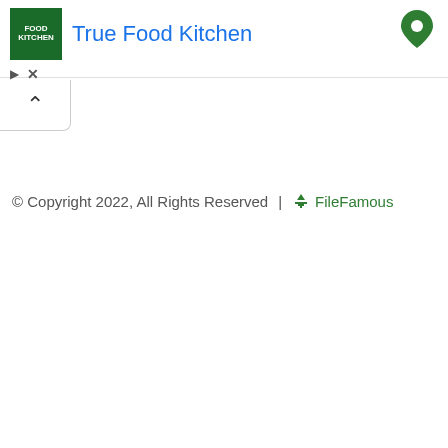[Figure (other): Advertisement banner for True Food Kitchen with green logo, blue title text, and a green map pin arrow on the right]
[Figure (other): Collapse/minimize button with upward caret chevron]
© Copyright 2022, All Rights Reserved  |  FileFamous